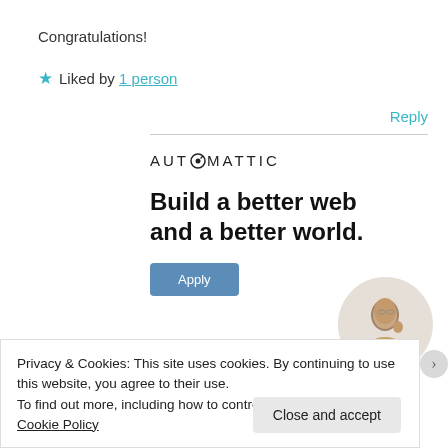Congratulations!
★ Liked by 1 person
Reply
[Figure (infographic): Automattic advertisement: logo at top, headline 'Build a better web and a better world.', Apply button, and circular photo of a man thinking]
Privacy & Cookies: This site uses cookies. By continuing to use this website, you agree to their use.
To find out more, including how to control cookies, see here:
Cookie Policy
Close and accept